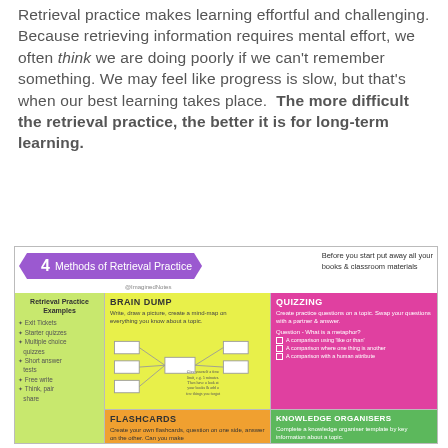Retrieval practice makes learning effortful and challenging. Because retrieving information requires mental effort, we often think we are doing poorly if we can't remember something. We may feel like progress is slow, but that's when our best learning takes place. The more difficult the retrieval practice, the better it is for long-term learning.
[Figure (infographic): Infographic titled '4 Methods of Retrieval Practice' showing four quadrants: Brain Dump (yellow-green), Quizzing (pink/magenta), Flashcards (orange), and Knowledge Organisers (green). Left sidebar in lime green lists Retrieval Practice Examples including Exit Tickets, Starter quizzes, Multiple choice quizzes, Short answer tests, Free write, Think pair. Header note says 'Before you start put away all your books & classroom materials'.]